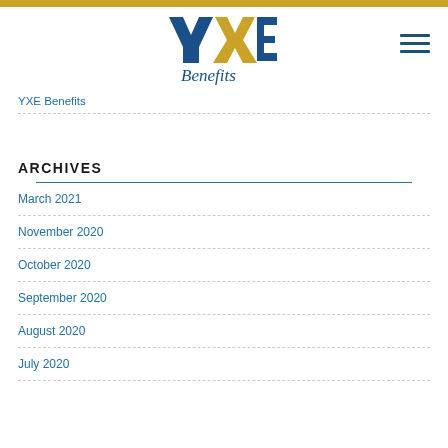[Figure (logo): YXE Benefits logo with blue Y and E letters, gold X letter, and italic blue 'Benefits' text below]
YXE Benefits
ARCHIVES
March 2021
November 2020
October 2020
September 2020
August 2020
July 2020